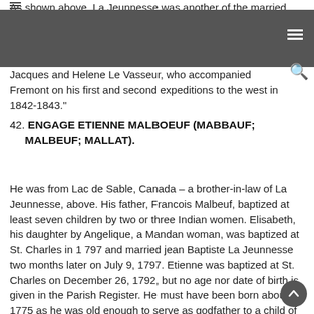As shown above, La Jeunnesse was another of the married men of the expedition. There were several
Jacques and Helene Le Vasseur, who accompanied Fremont on his first and second expeditions to the west in 1842-1843."
42. ENGAGE ETIENNE MALBOEUF (MABBAUF; MALBEUF; MALLAT).
He was from Lac de Sable, Canada – a brother-in-law of La Jeunnesse, above. His father, Francois Malbeuf, baptized at least seven children by two or three Indian women. Elisabeth, his daughter by Angelique, a Mandan woman, was baptized at St. Charles in 1 797 and married jean Baptiste La Jeunnesse two months later on July 9, 1797. Etienne was baptized at St. Charles on December 26, 1792, but no age nor date of birth is given in the Parish Register. He must have been born about 1775 as he was old enough to serve as godfather to a child of his sister, Elisabeth, and her